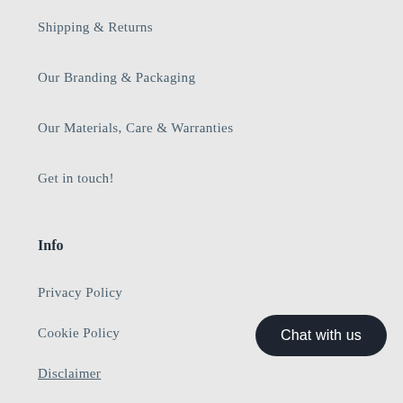Shipping & Returns
Our Branding & Packaging
Our Materials, Care & Warranties
Get in touch!
Info
Privacy Policy
Cookie Policy
Disclaimer
Terms & Conditions